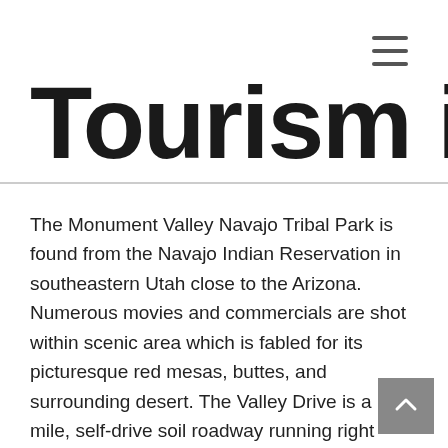≡
Tourism in Co
The Monument Valley Navajo Tribal Park is found from the Navajo Indian Reservation in southeastern Utah close to the Arizona. Numerous movies and commercials are shot within scenic area which is fabled for its picturesque red mesas, buttes, and surrounding desert. The Valley Drive is a 17 mile, self-drive soil roadway running right through the spectacular views. Along the route tend to be lots of the famous places and structures, with pullout areas for viewing and photography. For ventures beyond this roadway visitors must use helpful information, which is often organized during the